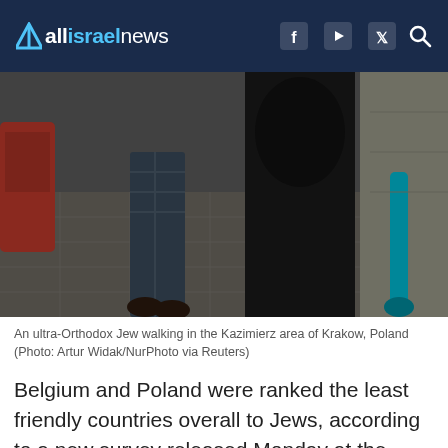allisraelnews
[Figure (photo): An ultra-Orthodox Jew walking in the Kazimierz area of Krakow, Poland. Street scene showing pedestrians from behind on a cobblestone sidewalk with parked cars and a green scooter.]
An ultra-Orthodox Jew walking in the Kazimierz area of Krakow, Poland (Photo: Artur Widak/NurPhoto via Reuters)
Belgium and Poland were ranked the least friendly countries overall to Jews, according to a new survey released Monday at the European Jewish Association (EJA) conference in Budapest.